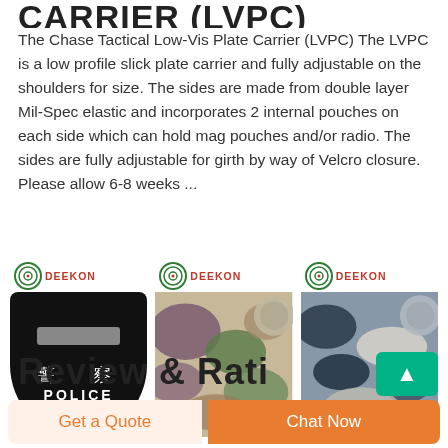CARRIER (LVPC)
The Chase Tactical Low-Vis Plate Carrier (LVPC) The LVPC is a low profile slick plate carrier and fully adjustable on the shoulders for size. The sides are made from double layer Mil-Spec elastic and incorporates 2 internal pouches on each side which can hold mag pouches and/or radio. The sides are fully adjustable for girth by way of Velcro closure. Please allow 6-8 weeks ...
[Figure (photo): DEEKON branded police riot shield, black, with Chinese characters 警察 and POLICE text]
[Figure (photo): DEEKON branded camouflage fabric in purple/green/beige pattern with circular swatch]
[Figure (photo): DEEKON branded camouflage fabric in dark blue/grey/white pattern with circular swatch]
Review & Rati
Get a Quote
Chat Now